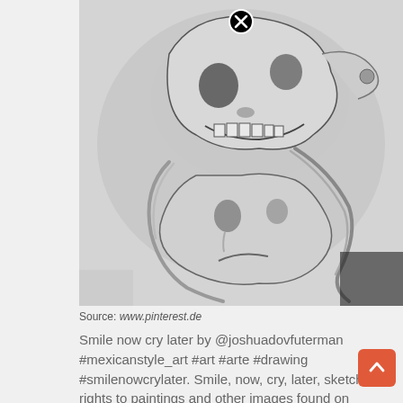[Figure (illustration): Pencil sketch illustration of 'smile now cry later' theatrical masks — a grinning skull/demon face above and a crying sorrowful face below, with flowing decorative lines, done in detailed graphite shading. A close button (X in circle) appears at the top center of the image.]
Source: www.pinterest.de
Smile now cry later by @joshuadovfuterman #mexicanstyle_art #art #arte #drawing #smilenowcrylater. Smile, now, cry, later, sketche rights to paintings and other images found on paintingvalley.com are owned by their respective owners (authors, artists), and the administration of